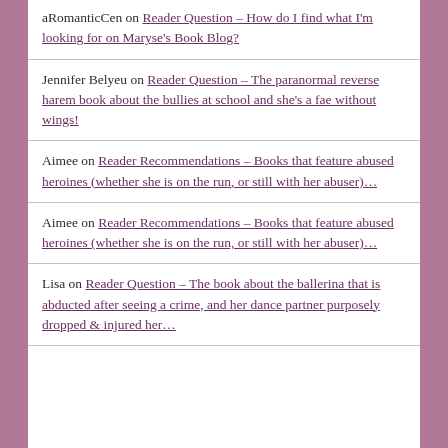aRomanticCen on Reader Question – How do I find what I'm looking for on Maryse's Book Blog?
Jennifer Belyeu on Reader Question – The paranormal reverse harem book about the bullies at school and she's a fae without wings!
Aimee on Reader Recommendations – Books that feature abused heroines (whether she is on the run, or still with her abuser)…
Aimee on Reader Recommendations – Books that feature abused heroines (whether she is on the run, or still with her abuser)…
Lisa on Reader Question – The book about the ballerina that is abducted after seeing a crime, and her dance partner purposely dropped & injured her…